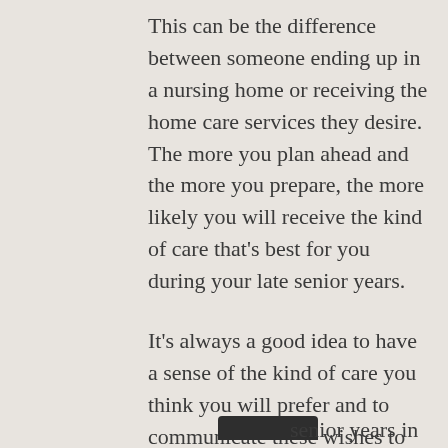This can be the difference between someone ending up in a nursing home or receiving the home care services they desire. The more you plan ahead and the more you prepare, the more likely you will receive the kind of care that's best for you during your late senior years.
It's always a good idea to have a sense of the kind of care you think you will prefer and to communicate these wishes to family members and friends, especially in writing. Below are a few situations that make it even more critical to plan in advance for home care services.
You wish to live... senior years in